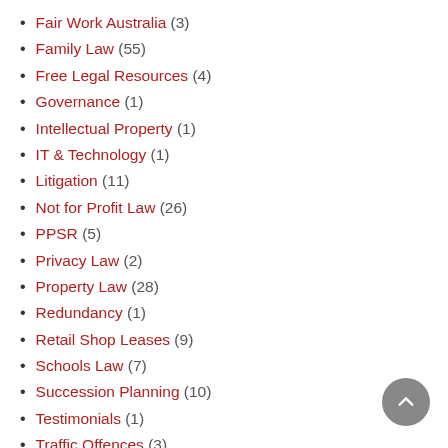Fair Work Australia (3)
Family Law (55)
Free Legal Resources (4)
Governance (1)
Intellectual Property (1)
IT & Technology (1)
Litigation (11)
Not for Profit Law (26)
PPSR (5)
Privacy Law (2)
Property Law (28)
Redundancy (1)
Retail Shop Leases (9)
Schools Law (7)
Succession Planning (10)
Testimonials (1)
Traffic Offences (3)
Unfair Dismissal (1)
Wol... (5?)